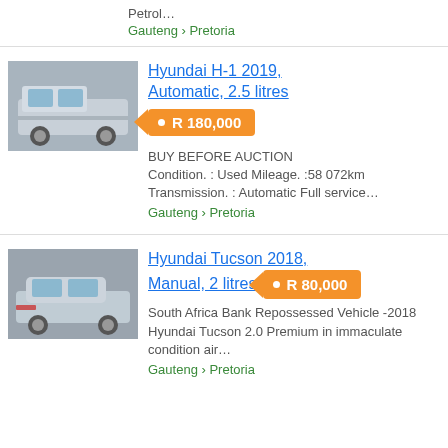Petrol…
Gauteng › Pretoria
Hyundai H-1 2019, Automatic, 2.5 litres
R 180,000
BUY BEFORE AUCTION Condition. : Used Mileage. :58 072km Transmission. : Automatic Full service…
Gauteng › Pretoria
[Figure (photo): Silver Hyundai H-1 van, front-right view, parked indoors]
Hyundai Tucson 2018, Manual, 2 litres
R 80,000
South Africa Bank Repossessed Vehicle -2018 Hyundai Tucson 2.0 Premium in immaculate condition air…
Gauteng › Pretoria
[Figure (photo): Silver Hyundai Tucson SUV, front view, parked]